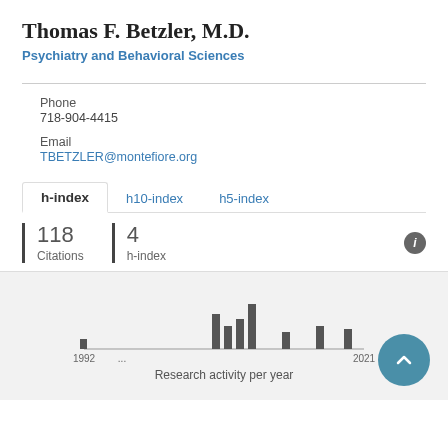Thomas F. Betzler, M.D.
Psychiatry and Behavioral Sciences
Phone
718-904-4415
Email
TBETZLER@montefiore.org
h-index	h10-index	h5-index
118 Citations	4 h-index
[Figure (bar-chart): Bar chart showing research activity per year from 1992 to 2021]